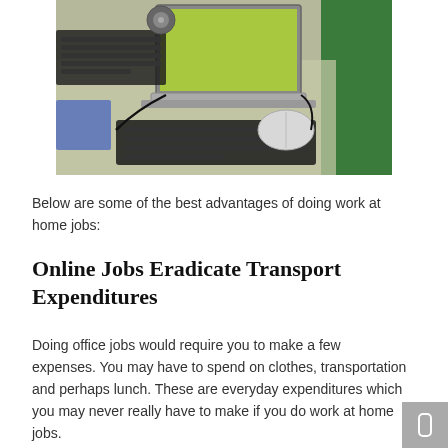[Figure (photo): A desk with a laptop computer, external keyboard, mouse, and other office equipment on a glass surface. A green cabinet is visible in the background.]
Below are some of the best advantages of doing work at home jobs:
Online Jobs Eradicate Transport Expenditures
Doing office jobs would require you to make a few expenses. You may have to spend on clothes, transportation and perhaps lunch. These are everyday expenditures which you may never really have to make if you do work at home jobs.